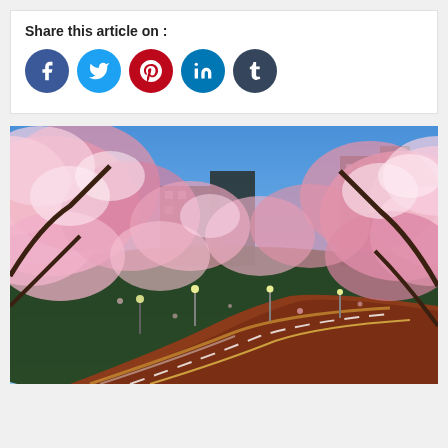Share this article on :
[Figure (infographic): Social media share buttons: Facebook (blue circle), Twitter (light blue circle), Pinterest (red circle), LinkedIn (teal circle), Tumblr (dark teal circle)]
[Figure (photo): Night photo of cherry blossom trees (sakura) lining a curved highway road in Tokyo, Japan. Pink blossoms fill both sides of the road, city buildings visible in background under a blue sky. Street lights illuminate the road.]